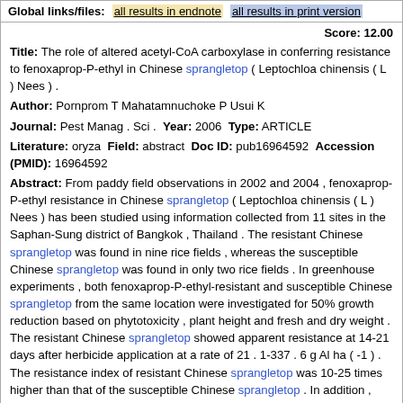Global links/files: all results in endnote  all results in print version
Score: 12.00
Title: The role of altered acetyl-CoA carboxylase in conferring resistance to fenoxaprop-P-ethyl in Chinese sprangletop ( Leptochloa chinensis ( L ) Nees ) .
Author: Pornprom T Mahatamnuchoke P Usui K
Journal: Pest Manag . Sci . Year: 2006 Type: ARTICLE
Literature: oryza Field: abstract Doc ID: pub16964592 Accession (PMID): 16964592
Abstract: From paddy field observations in 2002 and 2004 , fenoxaprop-P-ethyl resistance in Chinese sprangletop ( Leptochloa chinensis ( L ) Nees ) has been studied using information collected from 11 sites in the Saphan-Sung district of Bangkok , Thailand . The resistant Chinese sprangletop was found in nine rice fields , whereas the susceptible Chinese sprangletop was found in only two rice fields . In greenhouse experiments , both fenoxaprop-P-ethyl-resistant and susceptible Chinese sprangletop from the same location were investigated for 50% growth reduction based on phytotoxicity , plant height and fresh and dry weight . The resistant Chinese sprangletop showed apparent resistance at 14-21 days after herbicide application at a rate of 21 . 1-337 . 6 g Al ha ( -1 ) . The resistance index of resistant Chinese sprangletop was 10-25 times higher than that of the susceptible Chinese sprangletop . In addition , Chinese sprangletop did not exhibit multiple resistance to oxadiazon , propanil and quinclorac . According to acetyl-CoA carboxylase ( ACCase ) assays , the level of ACCase specific activity in the resistant Chinese sprangletop was significantly higher than that in the susceptible Chinese sprangletop . Similarly , the ACCase activity of the resistant Chinese